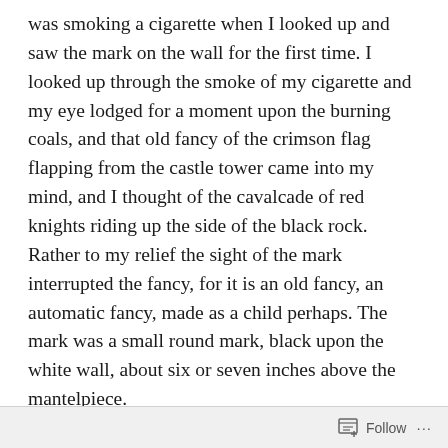was smoking a cigarette when I looked up and saw the mark on the wall for the first time. I looked up through the smoke of my cigarette and my eye lodged for a moment upon the burning coals, and that old fancy of the crimson flag flapping from the castle tower came into my mind, and I thought of the cavalcade of red knights riding up the side of the black rock. Rather to my relief the sight of the mark interrupted the fancy, for it is an old fancy, an automatic fancy, made as a child perhaps. The mark was a small round mark, black upon the white wall, about six or seven inches above the mantelpiece.
How readily our thoughts swarm upon a new object, lifting it a little way, as ants carry a blade of straw so
Follow ...